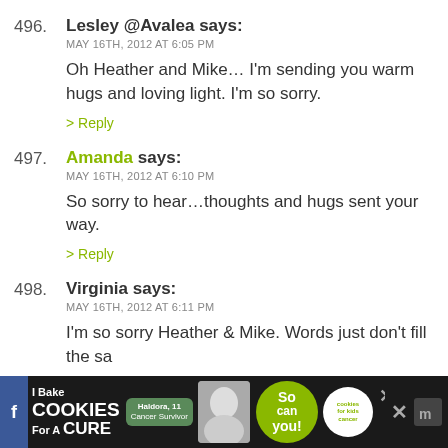496. Lesley @Avalea says:
MAY 16TH, 2012 AT 6:05 PM
Oh Heather and Mike… I'm sending you warm hugs and loving light. I'm so sorry.
> Reply
497. Amanda says:
MAY 16TH, 2012 AT 6:10 PM
So sorry to hear…thoughts and hugs sent your way.
> Reply
498. Virginia says:
MAY 16TH, 2012 AT 6:11 PM
I'm so sorry Heather & Mike. Words just don't fill the sa
> Reply
499. Alison says:
MAY 16TH, 2012 AT 6:11 PM
[Figure (other): Advertisement banner: I Bake COOKIES For A CURE with Haldora, 11 Cancer Survivor. So can you! cookies for kids cancer logo. Close button and social icons.]